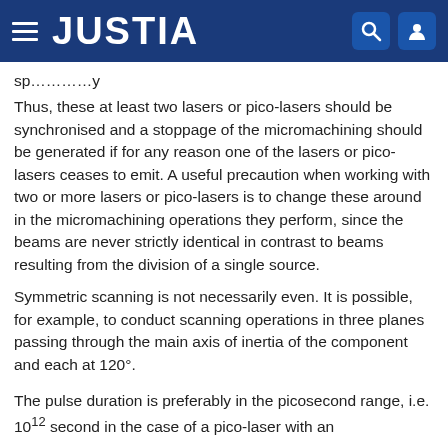JUSTIA
Thus, these at least two lasers or pico-lasers should be synchronised and a stoppage of the micromachining should be generated if for any reason one of the lasers or pico-lasers ceases to emit. A useful precaution when working with two or more lasers or pico-lasers is to change these around in the micromachining operations they perform, since the beams are never strictly identical in contrast to beams resulting from the division of a single source.
Symmetric scanning is not necessarily even. It is possible, for example, to conduct scanning operations in three planes passing through the main axis of inertia of the component and each at 120°.
The pulse duration is preferably in the picosecond range, i.e. 10¹² second in the case of a pico-laser with an